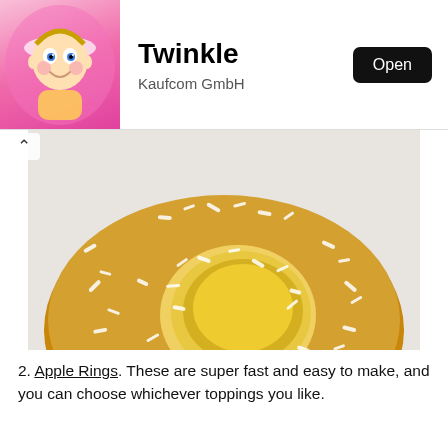[Figure (screenshot): App store listing header showing a baby cartoon character icon on pink background, app title 'Twinkle', developer 'Kaufcom GmbH', and an Open button]
[Figure (photo): Close-up photo of an apple ring coated with peanut butter and topped with shredded coconut, placed on a white plate]
2. Apple Rings. These are super fast and easy to make, and you can choose whichever toppings you like.